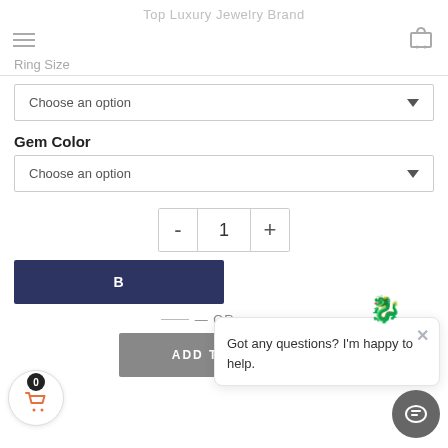Top Luxury Jewelry Brand
Ring Size
Choose an option
Gem Color
Choose an option
- 1 +
B
Got any questions? I'm happy to help.
— OR —
ADD TO CART